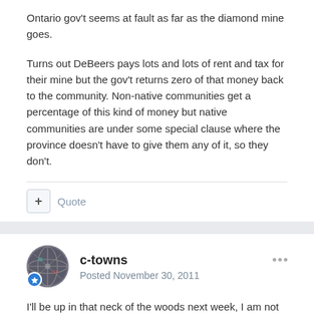Ontario gov't seems at fault as far as the diamond mine goes.
Turns out DeBeers pays lots and lots of rent and tax for their mine but the gov't returns zero of that money back to the community. Non-native communities get a percentage of this kind of money but native communities are under some special clause where the province doesn't have to give them any of it, so they don't.
c-towns
Posted November 30, 2011
I'll be up in that neck of the woods next week, I am not overly excited.